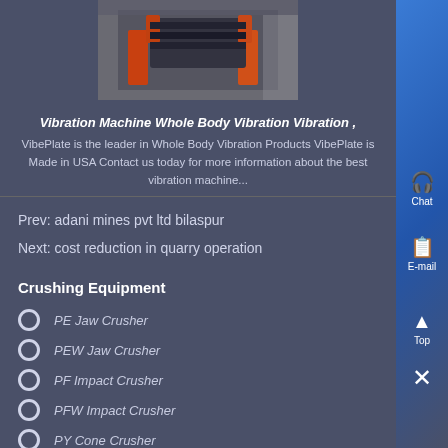[Figure (photo): Industrial vibration machine with orange/red metallic components, photographed in a factory or warehouse setting]
Vibration Machine Whole Body Vibration Vibration ,
VibePlate is the leader in Whole Body Vibration Products VibePlate is Made in USA Contact us today for more information about the best vibration machine...
Prev: adani mines pvt ltd bilaspur
Next: cost reduction in quarry operation
Crushing Equipment
PE Jaw Crusher
PEW Jaw Crusher
PF Impact Crusher
PFW Impact Crusher
PY Cone Crusher